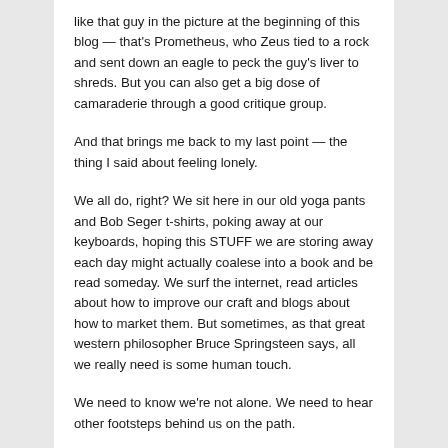like that guy in the picture at the beginning of this blog — that's Prometheus, who Zeus tied to a rock and sent down an eagle to peck the guy's liver to shreds. But you can also get a big dose of camaraderie through a good critique group.
And that brings me back to my last point — the thing I said about feeling lonely.
We all do, right? We sit here in our old yoga pants and Bob Seger t-shirts, poking away at our keyboards, hoping this STUFF we are storing away each day might actually coalese into a book and be read someday. We surf the internet, read articles about how to improve our craft and blogs about how to market them. But sometimes, as that great western philosopher Bruce Springsteen says, all we really need is some human touch.
We need to know we're not alone. We need to hear other footsteps behind us on the path.